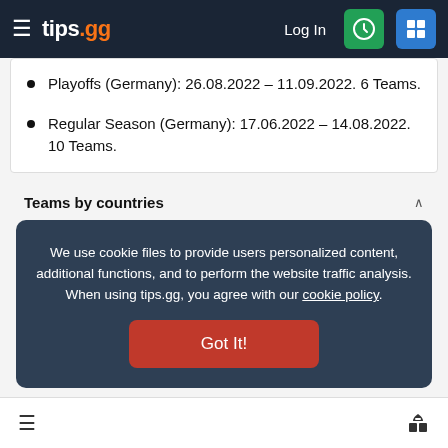tips.gg — Log In
Playoffs (Germany): 26.08.2022 – 11.09.2022. 6 Teams.
Regular Season (Germany): 17.06.2022 – 14.08.2022. 10 Teams.
Teams by countries
We use cookie files to provide users personalized content, additional functions, and to perform the website traffic analysis. When using tips.gg, you agree with our cookie policy.
Got It!
Germany: SK Gaming, G2 Esports
EU: Misfits Gaming, Rogue, Fnatic